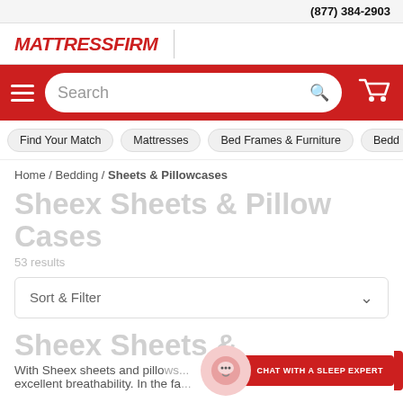(877) 384-2903
[Figure (logo): Mattress Firm logo in red italic bold text]
[Figure (screenshot): Red navigation bar with hamburger menu, search box, and shopping cart icon]
Find Your Match | Mattresses | Bed Frames & Furniture | Bedd...
Home / Bedding / Sheets & Pillowcases
Sheex Sheets & Pillow Cases
53 results
Sort & Filter
Sheex Sheets & Pillow Cases
With Sheex sheets and pillow... excellent breathability. In the fa...